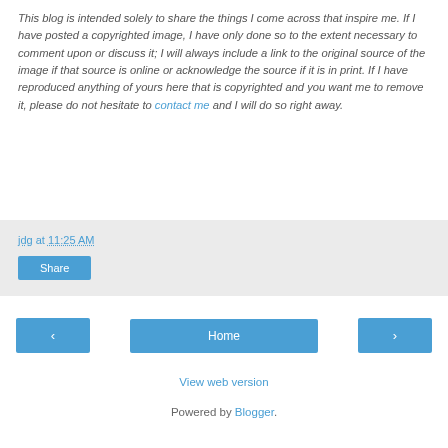This blog is intended solely to share the things I come across that inspire me. If I have posted a copyrighted image, I have only done so to the extent necessary to comment upon or discuss it; I will always include a link to the original source of the image if that source is online or acknowledge the source if it is in print. If I have reproduced anything of yours here that is copyrighted and you want me to remove it, please do not hesitate to contact me and I will do so right away.
jdg at 11:25 AM
Share
‹
Home
›
View web version
Powered by Blogger.